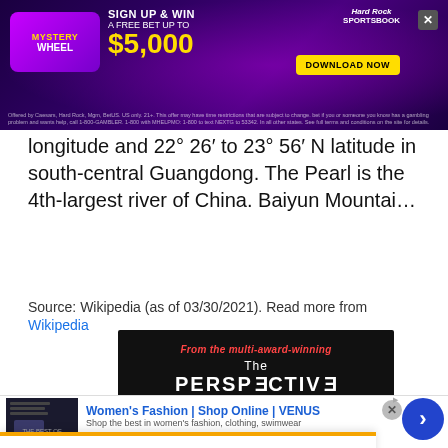[Figure (infographic): Hard Rock Sportsbook advertisement banner with Mystery Wheel promotion, offering sign up and win a free bet up to $5,000, with Download Now button, purple neon background with sports imagery]
longitude and 22° 26′ to 23° 56′ N latitude in south-central Guangdong. The Pearl is the 4th-largest river of China. Baiyun Mountai…
Source: Wikipedia (as of 03/30/2021). Read more from Wikipedia
[Figure (infographic): The Perspective advertisement with red italic text 'From the multi-award-winning' above white text 'The PERSPECTIVE' on black background with orange gradient at bottom]
This site uses cookies and other similar technologies to provide site functionality, analyze traffic and usage, and
[Figure (infographic): Venus women's fashion online shop advertisement banner with blue title text, thumbnail image, and shop description]